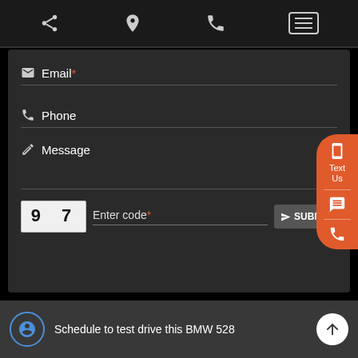[Figure (screenshot): Mobile website top navigation bar with share, location pin, phone, and hamburger menu icons on dark background]
Email*
Phone
Message
9 7  Enter code*  SUBMIT
[Figure (infographic): Orange floating pill button on right side with mobile phone icon, Text Us label, chat bubble icon, and phone icon]
Schedule to test drive this BMW 528